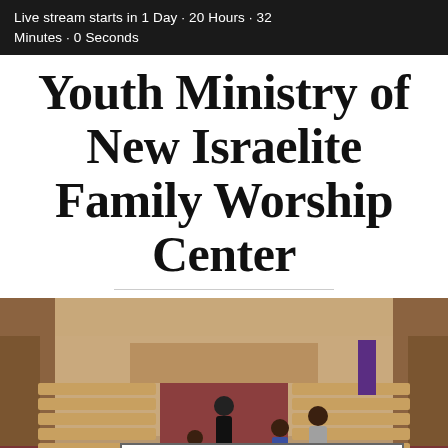Live stream starts in 1 Day · 20 Hours · 32 Minutes · 0 Seconds
Youth Ministry of New Israelite Family Worship Center
[Figure (photo): Interior of a church sanctuary with wooden pews, carpet aisles, and a group of people including children and adults walking and standing in the center aisle. There is a purple banner in the back and a decorated altar area.]
plan your visit